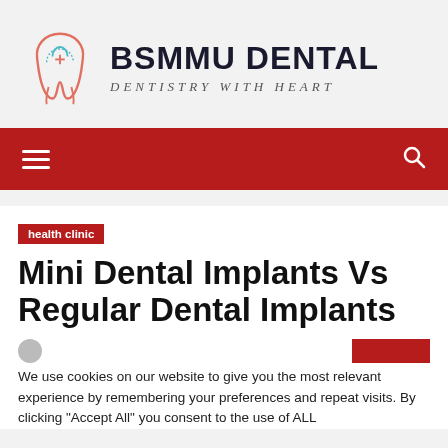[Figure (logo): BSMMU Dental logo with a tooth illustration in coral/teal colors and text 'BSMMU DENTAL' with tagline 'DENTISTRY WITH HEART']
[Figure (other): Dark red navigation bar with hamburger menu icon on left and search icon on right]
health clinic
Mini Dental Implants Vs Regular Dental Implants
We use cookies on our website to give you the most relevant experience by remembering your preferences and repeat visits. By clicking "Accept All" you consent to the use of ALL